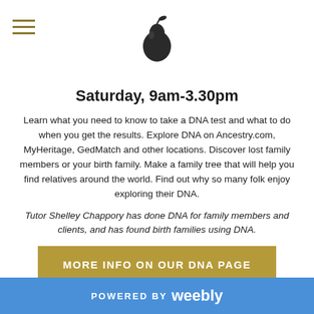Saturday, 9am-3.30pm
Learn what you need to know to take a DNA test and what to do when you get the results. Explore DNA on Ancestry.com, MyHeritage, GedMatch and other locations. Discover lost family members or your birth family. Make a family tree that will help you find relatives around the world. Find out why so many folk enjoy exploring their DNA.
Tutor Shelley Chappory has done DNA for family members and clients, and has found birth families using DNA.
MORE INFO ON OUR DNA PAGE
“I’m used to not staying anywhere for too long.
POWERED BY weebly